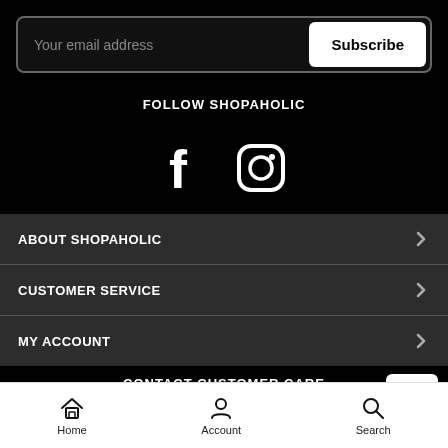Your email address
Subscribe
FOLLOW SHOPAHOLIC
[Figure (illustration): Facebook and Instagram social media icons in white on black background]
ABOUT SHOPAHOLIC
CUSTOMER SERVICE
MY ACCOUNT
CONTACT CUSTOMER CARE
[Figure (illustration): Three contact method cards with icons - chat, email/key, and phone/radio]
[Figure (illustration): Scroll to top button with upward chevron arrow]
Home  Account  Search